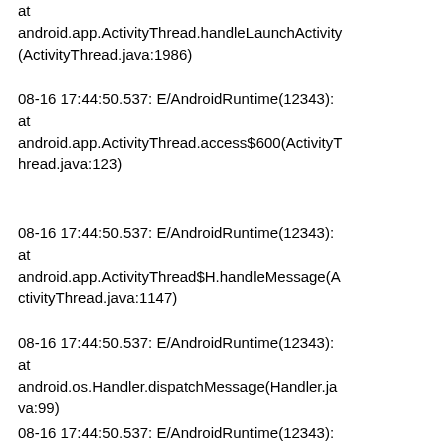at android.app.ActivityThread.handleLaunchActivity(ActivityThread.java:1986)
08-16 17:44:50.537: E/AndroidRuntime(12343): at android.app.ActivityThread.access$600(ActivityThread.java:123)
08-16 17:44:50.537: E/AndroidRuntime(12343): at android.app.ActivityThread$H.handleMessage(ActivityThread.java:1147)
08-16 17:44:50.537: E/AndroidRuntime(12343): at android.os.Handler.dispatchMessage(Handler.java:99)
08-16 17:44:50.537: E/AndroidRuntime(12343):